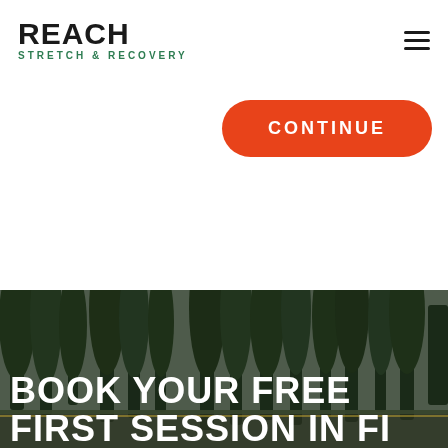REACH STRETCH & RECOVERY
CONTINUE
[Figure (photo): Outdoor scene with tall trees (poplars/conifers) visible against a grey sky, with a fence or structure in the lower foreground. Dark, moody color tones.]
BOOK YOUR FREE FIRST SESSION IN FI...